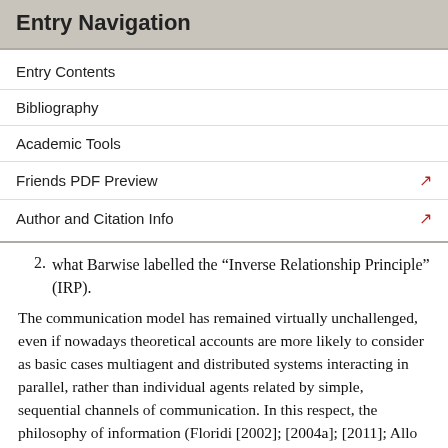Entry Navigation
Entry Contents
Bibliography
Academic Tools
Friends PDF Preview
Author and Citation Info
2. what Barwise labelled the “Inverse Relationship Principle” (IRP).
The communication model has remained virtually unchallenged, even if nowadays theoretical accounts are more likely to consider as basic cases multiagent and distributed systems interacting in parallel, rather than individual agents related by simple, sequential channels of communication. In this respect, the philosophy of information (Floridi [2002]; [2004a]; [2011]; Allo [2010]) is less Cartesian than “social”.